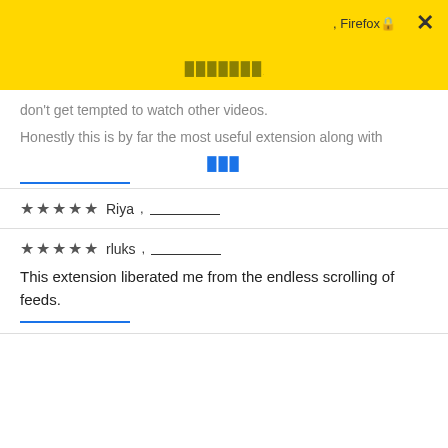, Firefox🔒 ✕ ███████
don't get tempted to watch other videos.
Honestly this is by far the most useful extension along with
███
★★★★★ Riya , ________
★★★★★ rluks , ________
This extension liberated me from the endless scrolling of feeds.